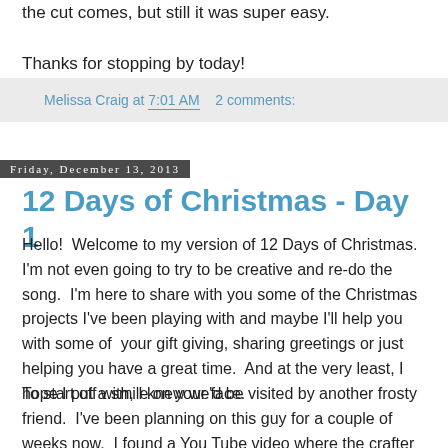the cut comes, but still it was super easy.
Thanks for stopping by today!
Melissa Craig at 7:01 AM   2 comments:
Friday, December 13, 2013
12 Days of Christmas - Day 1
Hello!  Welcome to my version of 12 Days of Christmas.  I'm not even going to try to be creative and re-do the song.  I'm here to share with you some of the Christmas projects I've been playing with and maybe I'll help you with some of  your gift giving, sharing greetings or just helping you have a great time.  And at the very least, I hope I put a smile on your face.
To start off with, I knew we'd be visited by another frosty friend.  I've been planning on this guy for a couple of weeks now.  I found a You Tube video where the crafter made a reindeer treat box from punches, the Top Note die by Stampin' Up! and thought it was pretty cute.  So taking from